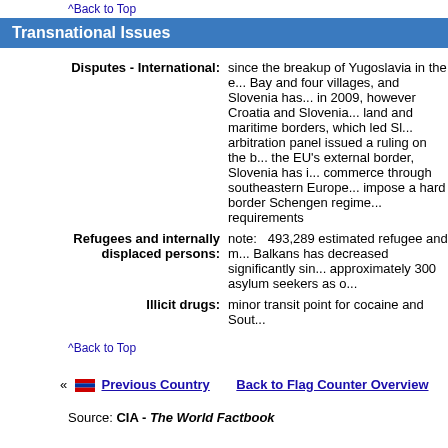^Back to Top
Transnational Issues
Disputes - International: since the breakup of Yugoslavia in the e... Bay and four villages, and Slovenia has... in 2009, however Croatia and Slovenia... land and maritime borders, which led Sl... arbitration panel issued a ruling on the b... the EU's external border, Slovenia has i... commerce through southeastern Europe... impose a hard border Schengen regime... requirements
Refugees and internally displaced persons: note: 493,289 estimated refugee and m... Balkans has decreased significantly sin... approximately 300 asylum seekers as o...
Illicit drugs: minor transit point for cocaine and Sout...
^Back to Top
« Previous Country   Back to Flag Counter Overview
Source: CIA - The World Factbook